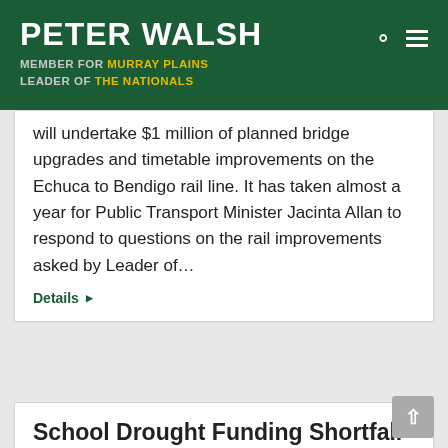PETER WALSH — MEMBER FOR MURRAY PLAINS — LEADER OF THE NATIONALS
will undertake $1 million of planned bridge upgrades and timetable improvements on the Echuca to Bendigo rail line. It has taken almost a year for Public Transport Minister Jacinta Allan to respond to questions on the rail improvements asked by Leader of…
Details
School Drought Funding Shortfall
Media • 21 March 2016
21 March 2016 Leader of The Nationals